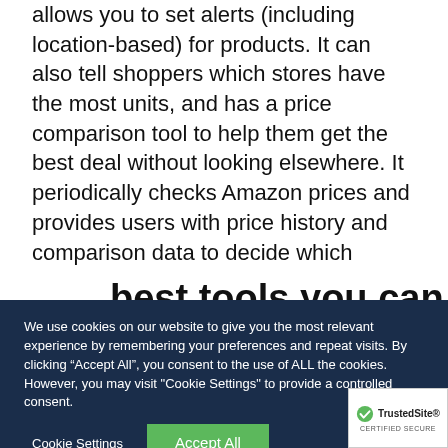allows you to set alerts (including location-based) for products. It can also tell shoppers which stores have the most units, and has a price comparison tool to help them get the best deal without looking elsewhere. It periodically checks Amazon prices and provides users with price history and comparison data to decide which products to buy there.Easy to use, it is one of the
best tools you can use to
We use cookies on our website to give you the most relevant experience by remembering your preferences and repeat visits. By clicking “Accept All”, you consent to the use of ALL the cookies. However, you may visit "Cookie Settings" to provide a controlled consent.
Cookie Settings
Accept All
[Figure (logo): TrustedSite Certified Secure badge with green checkmark]